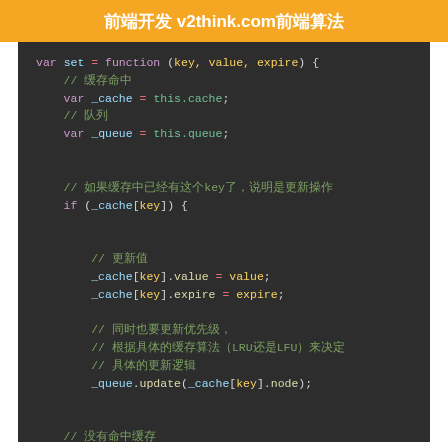前端开发 v2think.com前端算法
[Figure (screenshot): JavaScript code snippet showing a 'set' function for a cache implementation with LRU/LFU logic, including variable assignments, conditional updates, and queue operations.]